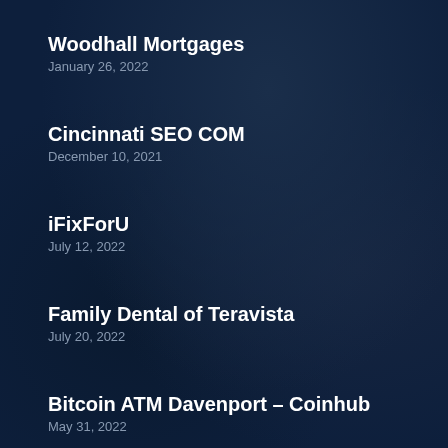Woodhall Mortgages
January 26, 2022
Cincinnati SEO COM
December 10, 2021
iFixForU
July 12, 2022
Family Dental of Teravista
July 20, 2022
Bitcoin ATM Davenport – Coinhub
May 31, 2022